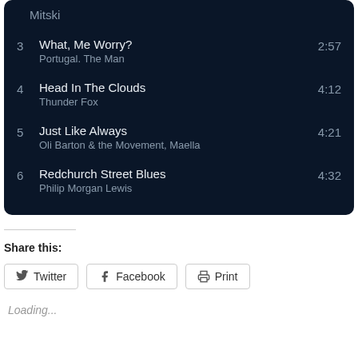[Figure (screenshot): Spotify-style playlist UI showing tracks 3-6 on dark background]
3  What, Me Worry?  2:57
Portugal. The Man
4  Head In The Clouds  4:12
Thunder Fox
5  Just Like Always  4:21
Oli Barton & the Movement, Maella
6  Redchurch Street Blues  4:32
Philip Morgan Lewis
Share this:
Twitter  Facebook  Print
Loading...